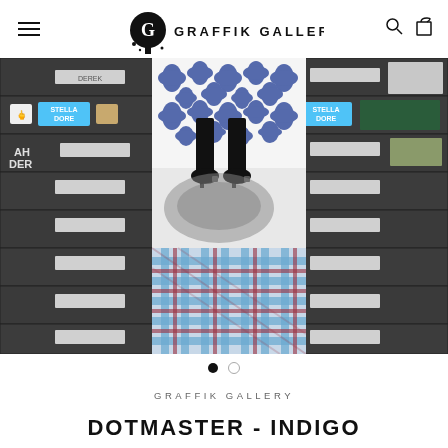GRAFFIK GALLERY
[Figure (photo): Gallery photo showing flat file drawers on left and right with labeled stickers (STELLA DORE, etc.), and a central artwork print showing legs in heels with blue floral pattern above, and a person in plaid trousers below. This is a product listing image for Dotmaster - Indigo.]
• ○
GRAFFIK GALLERY
DOTMASTER - INDIGO